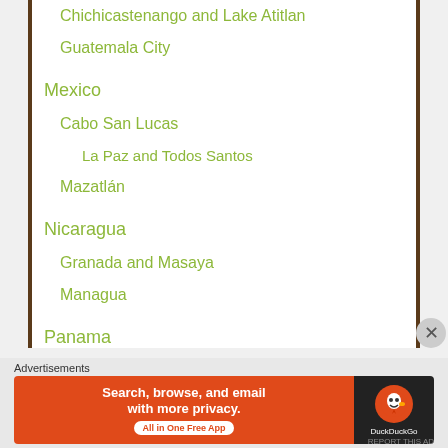Chichicastenango and Lake Atitlan
Guatemala City
Mexico
Cabo San Lucas
La Paz and Todos Santos
Mazatlán
Nicaragua
Granada and Masaya
Managua
Panama
Advertisements
[Figure (screenshot): DuckDuckGo advertisement banner: Search, browse, and email with more privacy. All in One Free App.]